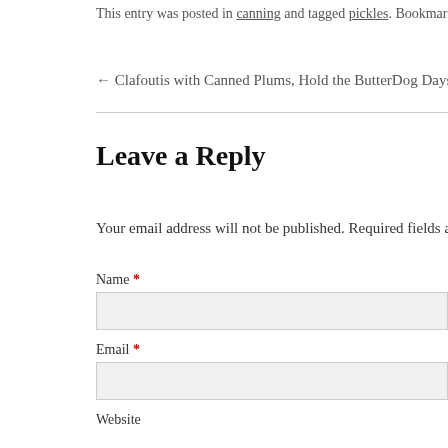This entry was posted in canning and tagged pickles. Bookmark the permalink
← Clafoutis with Canned Plums, Hold the Butter    Dog Days
Leave a Reply
Your email address will not be published. Required fields are m
Name *
Email *
Website
Comment